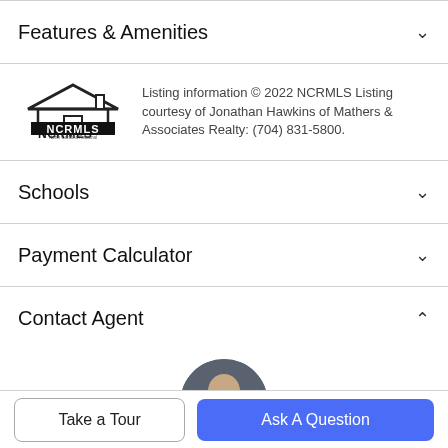Features & Amenities
[Figure (logo): NCRMLS (North Carolina Regional MLS) logo with house icon]
Listing information © 2022 NCRMLS Listing courtesy of Jonathan Hawkins of Mathers & Associates Realty: (704) 831-5800.
Schools
Payment Calculator
Contact Agent
[Figure (photo): Circular profile photo of a man (agent) with gray/dark background]
Take a Tour
Ask A Question